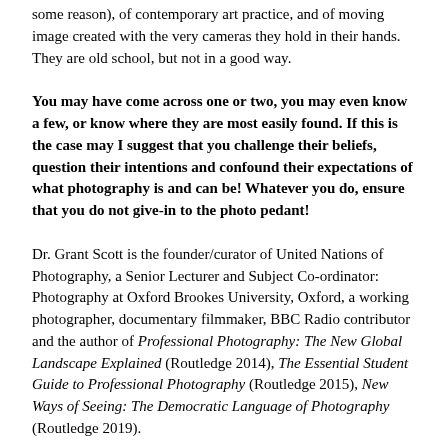some reason), of contemporary art practice, and of moving image created with the very cameras they hold in their hands. They are old school, but not in a good way.
You may have come across one or two, you may even know a few, or know where they are most easily found. If this is the case may I suggest that you challenge their beliefs, question their intentions and confound their expectations of what photography is and can be! Whatever you do, ensure that you do not give-in to the photo pedant!
Dr. Grant Scott is the founder/curator of United Nations of Photography, a Senior Lecturer and Subject Co-ordinator: Photography at Oxford Brookes University, Oxford, a working photographer, documentary filmmaker, BBC Radio contributor and the author of Professional Photography: The New Global Landscape Explained (Routledge 2014), The Essential Student Guide to Professional Photography (Routledge 2015), New Ways of Seeing: The Democratic Language of Photography (Routledge 2019).